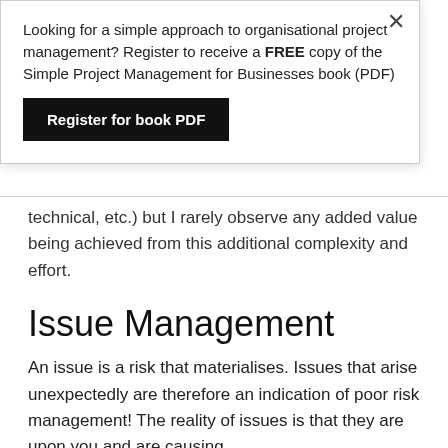Looking for a simple approach to organisational project management? Register to receive a FREE copy of the Simple Project Management for Businesses book (PDF)
Register for book PDF
technical, etc.) but I rarely observe any added value being achieved from this additional complexity and effort.
Issue Management
An issue is a risk that materialises. Issues that arise unexpectedly are therefore an indication of poor risk management! The reality of issues is that they are upon you and are causing